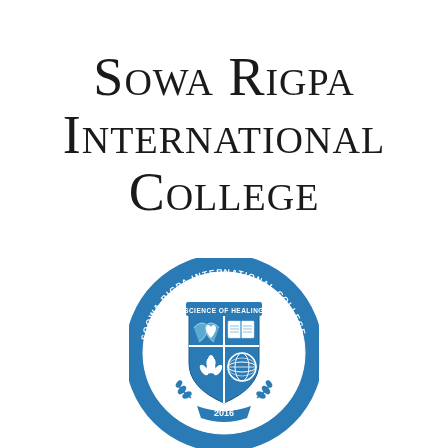Sowa Rigpa International College
[Figure (logo): Circular seal/logo of Sowa-Rigpa International College featuring a shield divided into four quadrants with symbols including a heart with hands, an open book, a lotus flower, and a globe. The outer ring reads 'SOOWA-RIGPA INTERNATIONAL COLLEGE' with the text 'SCIENCE OF HEALING' on a banner at the top of the shield and the year '2016' at the bottom. The logo is rendered in blue and white.]